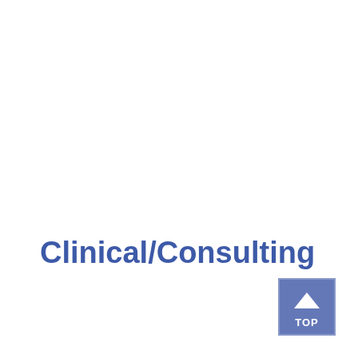Clinical/Consulting
[Figure (other): Blue 'TOP' navigation button with upward arrow chevron, used as a scroll-to-top anchor link]